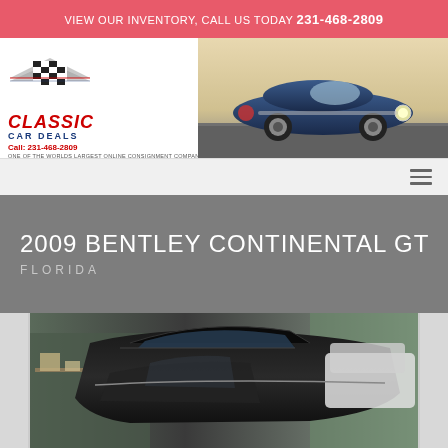VIEW OUR INVENTORY, CALL US TODAY 231-468-2809
[Figure (logo): Classic Car Deals logo with checkered flag emblem, red text 'CLASSIC', blue text 'CAR DEALS', red call number '231-468-2809', tagline 'ONE OF THE WORLDS LARGEST ONLINE CONSIGNMENT COMPANY', and a blue classic car (Camaro) on the right side of the header]
2009 BENTLEY CONTINENTAL GT
FLORIDA
[Figure (photo): Interior/exterior photo of a black Bentley Continental GT in what appears to be a showroom or garage, showing the roof, door and interior of the dark-colored luxury vehicle]